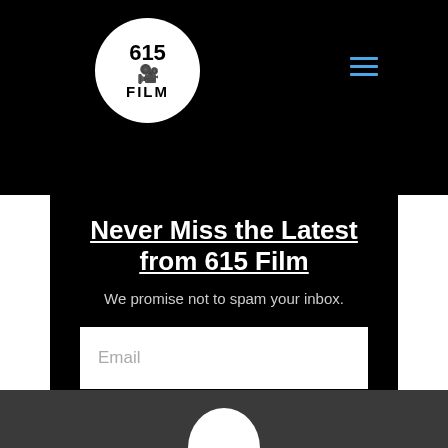[Figure (logo): 615 Film logo: white circle with '615', camera icon, and 'FILM' text in black on black background header]
Never Miss the Latest from 615 Film
We promise not to spam your inbox.
[Figure (screenshot): Email input field (white box with 'Email' placeholder text)]
Subscribe